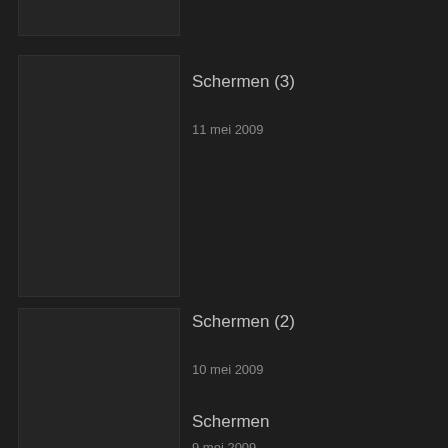[Figure (photo): Thumbnail image placeholder, dark background, top area partially visible]
[Figure (photo): Thumbnail image placeholder, dark background, second row]
Schermen (3)
11 mei 2009
[Figure (photo): Thumbnail image placeholder, dark background, third row]
Schermen (2)
10 mei 2009
[Figure (photo): Thumbnail image placeholder, dark background, fourth row partially visible]
Schermen
9 mei 2009